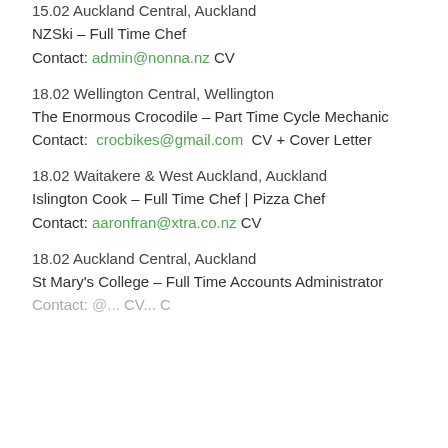15.02 Auckland Central, Auckland
NZSki – Full Time Chef
Contact: admin@nonna.nz CV
18.02 Wellington Central, Wellington
The Enormous Crocodile – Part Time Cycle Mechanic
Contact: crocbikes@gmail.com CV + Cover Letter
18.02 Waitakere & West Auckland, Auckland
Islington Cook – Full Time Chef | Pizza Chef
Contact: aaronfran@xtra.co.nz CV
18.02 Auckland Central, Auckland
St Mary's College – Full Time Accounts Administrator
Contact: ...